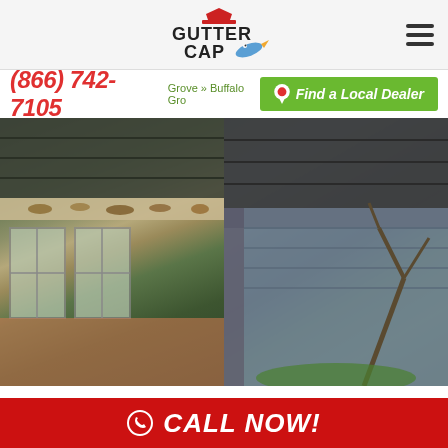[Figure (logo): Gutter Cap logo with hat icon]
(866) 742-7105
Grove » Buffalo Gro
[Figure (other): Green button: Find a Local Dealer with pin icon]
[Figure (photo): Before and after comparison photo: left side shows clogged gutters with leaves, right side shows clean installed gutter cap]
Custom fits to existing gutters
Panels won't warp or collapse
Transferable Lifetime Warranty
CALL NOW!